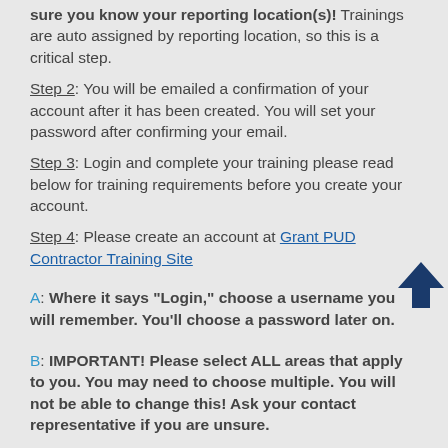sure you know your reporting location(s)! Trainings are auto assigned by reporting location, so this is a critical step.
Step 2: You will be emailed a confirmation of your account after it has been created. You will set your password after confirming your email.
Step 3: Login and complete your training please read below for training requirements before you create your account.
Step 4: Please create an account at Grant PUD Contractor Training Site
A: Where it says "Login," choose a username you will remember. You'll choose a password later on.
B: IMPORTANT! Please select ALL areas that apply to you. You may need to choose multiple. You will not be able to change this! Ask your contact representative if you are unsure.